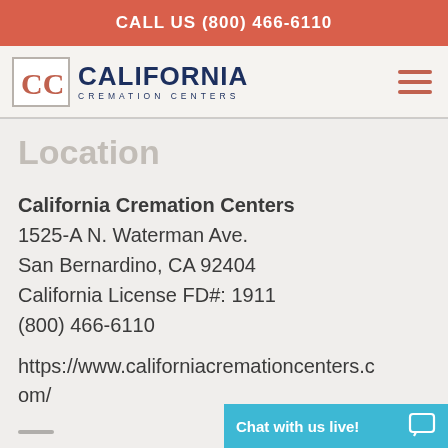CALL US (800) 466-6110
[Figure (logo): California Cremation Centers logo with CCC monogram icon and text]
Location
California Cremation Centers
1525-A N. Waterman Ave.
San Bernardino, CA 92404
California License FD#: 1911
(800) 466-6110
https://www.californiacremationcenters.com/